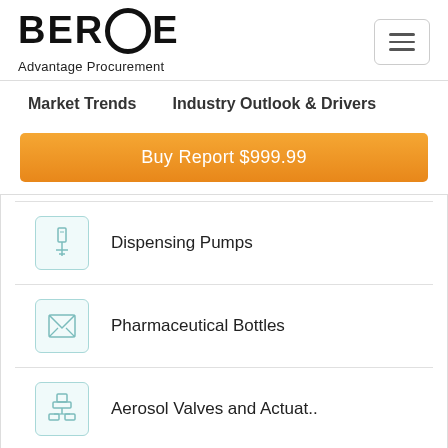[Figure (logo): BEROE Advantage Procurement logo with tagline]
Market Trends    Industry Outlook & Drivers
Buy Report $999.99
Dispensing Pumps
Pharmaceutical Bottles
Aerosol Valves and Actuat..